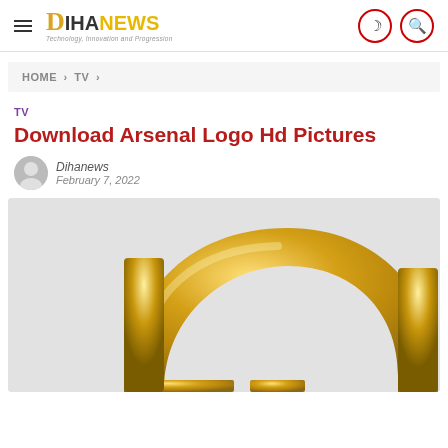DihaNews — hamburger menu, moon icon, search icon
HOME > TV >
TV
Download Arsenal Logo Hd Pictures
Dihanews
February 7, 2022
[Figure (photo): A gold 3D metallic letter or logo shape (resembling the Arsenal cannon or a curved letter) with reflective gold surface on a light gray background.]